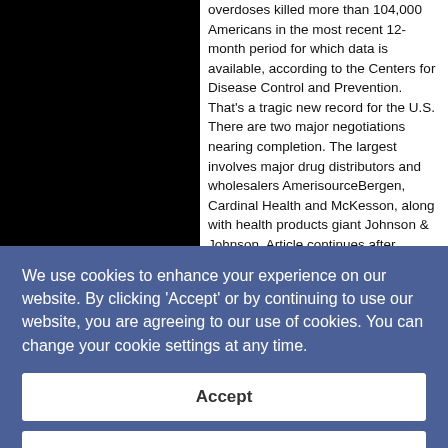[Figure (photo): Black rectangle representing a photo placeholder on the left side of the article.]
overdoses killed more than 104,000 Americans in the most recent 12-month period for which data is available, according to the Centers for Disease Control and Prevention. That's a tragic new record for the U.S. There are two major negotiations nearing completion. The largest involves major drug distributors and wholesalers AmerisourceBergen, Cardinal Health and McKesson, along with health products giant Johnson & Johnson. Article continues after sponsor
We use cookies to enhance your experience on our website. By clicking 'Accept' or by continuing to use our website, you are agreeing to our use of cookies. You can change your cookie settings at any time.
Accept
Find out more